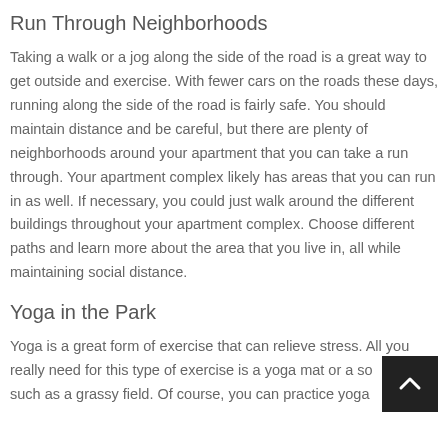Run Through Neighborhoods
Taking a walk or a jog along the side of the road is a great way to get outside and exercise. With fewer cars on the roads these days, running along the side of the road is fairly safe. You should maintain distance and be careful, but there are plenty of neighborhoods around your apartment that you can take a run through. Your apartment complex likely has areas that you can run in as well. If necessary, you could just walk around the different buildings throughout your apartment complex. Choose different paths and learn more about the area that you live in, all while maintaining social distance.
Yoga in the Park
Yoga is a great form of exercise that can relieve stress. All you really need for this type of exercise is a yoga mat or a soft surface such as a grassy field. Of course, you can practice yoga